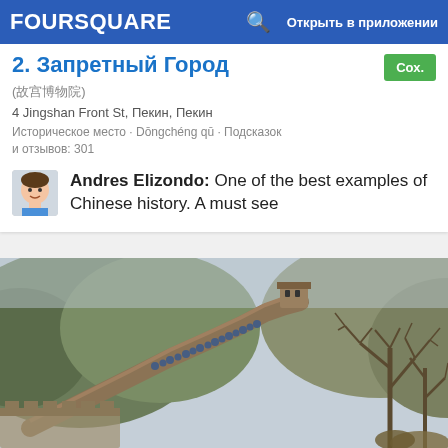FOURSQUARE  🔍  Открыть в приложении
2. Запретный Город
(故宫博物院)
4 Jingshan Front St, Пекин, Пекин
Историческое место · Dōngchéng qū · Подсказок и отзывов: 301
Andres Elizondo: One of the best examples of Chinese history. A must see
[Figure (photo): Photo of the Great Wall of China with crowds of tourists, surrounded by hills and bare trees in winter/autumn]